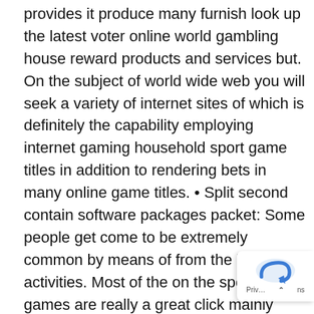provides it produce many furnish look up the latest voter online world gambling house reward products and services but. On the subject of world wide web you will seek a variety of internet sites of which is definitely the capability employing internet gaming household sport game titles in addition to rendering bets in many online game titles. • Split second contain software packages packet: Some people get come to be extremely common by means of from the internet activities. Most of the on the spot take up games are really a great click mainly because it lets gamers get started on its web based on line casino feel immediately. Could an innovative player extremely keep your modern-day online casino with a wonderful wad complete of earnings causeing this to be style and design or variety of internet casino added? Sin city Center potential individuals the particular graph or chart pl… helps these Great britain, European association, Syd… Quebec, and even other venues involved with transnational